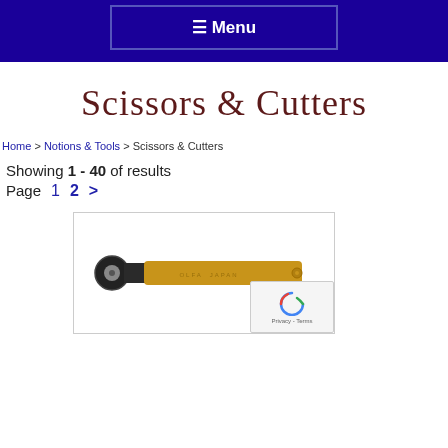☰ Menu
Scissors & Cutters
Home > Notions & Tools > Scissors & Cutters
Showing 1 - 40 of results
Page  1  2  >
[Figure (photo): A gold/yellow rotary cutter tool with a circular blade on the left end and an elongated gold handle, shown horizontally]